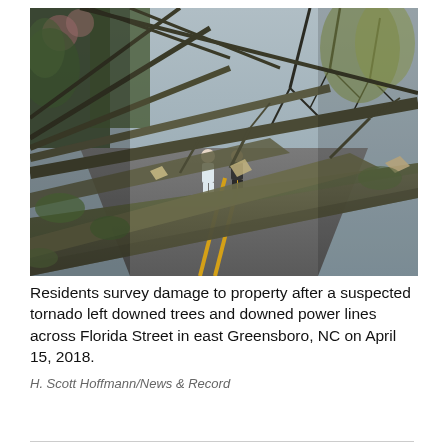[Figure (photo): Fallen trees from a suspected tornado block Florida Street in east Greensboro, NC. Large tree trunks and branches lie across the road with yellow center lines visible beneath. Two people stand in the background surveying the damage, surrounded by bare and leafy trees.]
Residents survey damage to property after a suspected tornado left downed trees and downed power lines across Florida Street in east Greensboro, NC on April 15, 2018.
H. Scott Hoffmann/News & Record